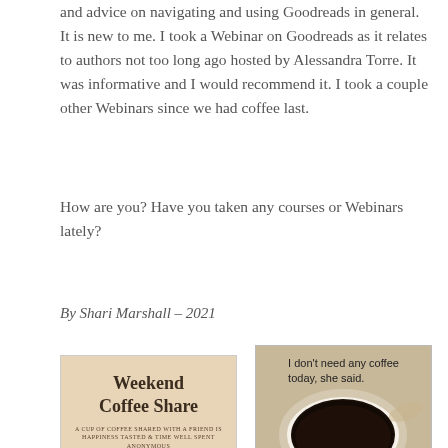and advice on navigating and using Goodreads in general. It is new to me. I took a Webinar on Goodreads as it relates to authors not too long ago hosted by Alessandra Torre. It was informative and I would recommend it. I took a couple other Webinars since we had coffee last.
How are you? Have you taken any courses or Webinars lately?
By Shari Marshall – 2021
[Figure (illustration): Weekend Coffee Share graphic with coffee cups and text 'A CUP OF COFFEE SHARED WITH A FRIEND IS HAPPINESS TASTED & TIME WELL SPENT ANONYMOUS']
[Figure (photo): Photo of a cup of black coffee with text overlay: 'I don't need any coffee today, she said. And then she laughed and laughed and laughed.....and drank lots of coffee.....' with credit /ScatteredSara]